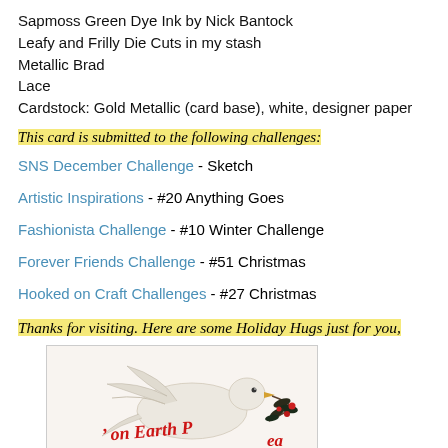Sapmoss Green Dye Ink by Nick Bantock
Leafy and Frilly Die Cuts in my stash
Metallic Brad
Lace
Cardstock: Gold Metallic (card base), white, designer paper
This card is submitted to the following challenges:
SNS December Challenge - Sketch
Artistic Inspirations - #20 Anything Goes
Fashionista Challenge - #10 Winter Challenge
Forever Friends Challenge - #51 Christmas
Hooked on Craft Challenges - #27 Christmas
Thanks for visiting. Here are some Holiday Hugs just for you,
[Figure (illustration): A white dove carrying an olive branch with red berries and dark leaves, with red cursive text reading 'Peace on Earth' in a holiday card style illustration.]